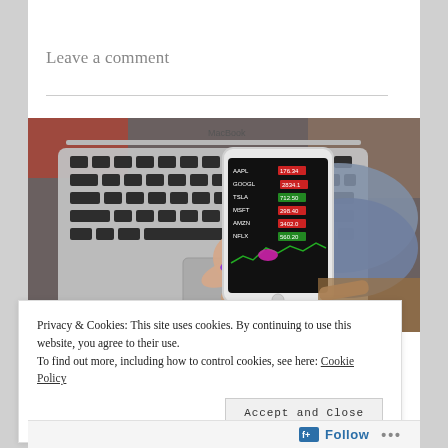Leave a comment
[Figure (photo): A hand with colorful nail polish holding a smartphone displaying stock market data, with a MacBook laptop keyboard visible in the background on a wooden surface.]
Privacy & Cookies: This site uses cookies. By continuing to use this website, you agree to their use.
To find out more, including how to control cookies, see here: Cookie Policy
Accept and Close
Follow ...